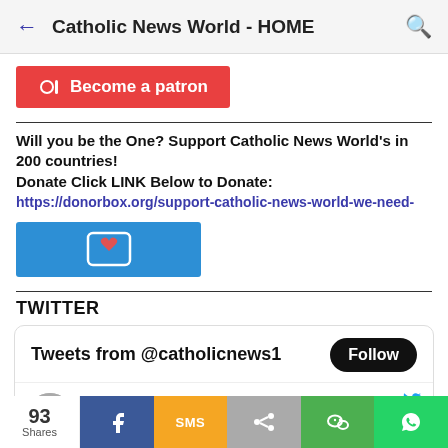Catholic News World - HOME
[Figure (other): Patreon 'Become a patron' red button with Patreon icon]
Will you be the One? Support Catholic News World's in 200 countries!
Donate Click LINK Below to Donate:
https://donorbox.org/support-catholic-news-world-we-need-
[Figure (other): Blue donate button with heart icon in bracket]
TWITTER
[Figure (screenshot): Twitter widget showing Tweets from @catholicnews1 with Follow button and a tweet by Catholic News W... @catholicne... 3h: 25th #Anniversary of the Death of St.]
93 Shares | Facebook | SMS | Share | WeChat | WhatsApp